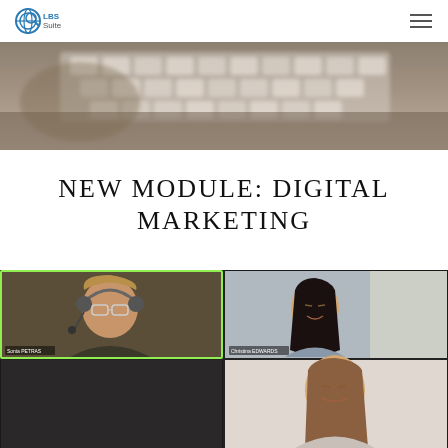LBS Suite
[Figure (photo): Close-up photo of a laptop keyboard, blurred background, warm tones]
NEW MODULE: DIGITAL MARKETING
[Figure (screenshot): Screenshot of a video conference call showing three participants: a woman wearing a headset on the left (highlighted with green border), a woman on the upper right, and a woman on the lower center panel]